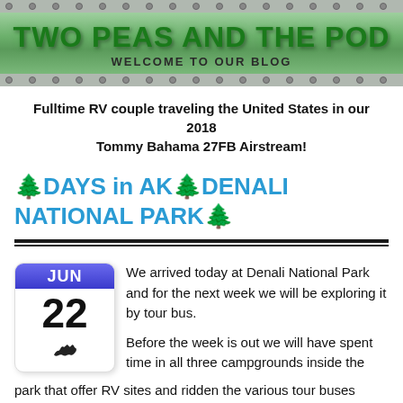[Figure (illustration): Blog header banner with riveted metal border, green gradient background, title 'TWO PEAS AND THE POD' in large dark green lettering, subtitle 'WELCOME TO OUR BLOG' in smaller letters]
Fulltime RV couple traveling the United States in our 2018 Tommy Bahama 27FB Airstream!
🌲DAYS in AK🌲DENALI NATIONAL PARK🌲
[Figure (illustration): Calendar icon showing JUN 22 with Alaska silhouette at bottom]
We arrived today at Denali National Park and for the next week we will be exploring it by tour bus.
Before the week is out we will have spent time in all three campgrounds inside the park that offer RV sites and ridden the various tour buses